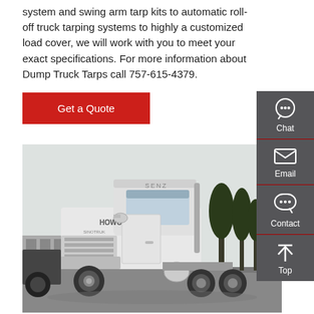system and swing arm tarp kits to automatic roll-off truck tarping systems to highly a customized load cover, we will work with you to meet your exact specifications. For more information about Dump Truck Tarps call 757-615-4379.
[Figure (other): Red 'Get a Quote' button]
[Figure (photo): White HOWO semi-truck / tractor unit parked outdoors with trees and buildings in the background]
[Figure (infographic): Right sidebar with Chat, Email, Contact, and Top navigation icons on a dark gray background]